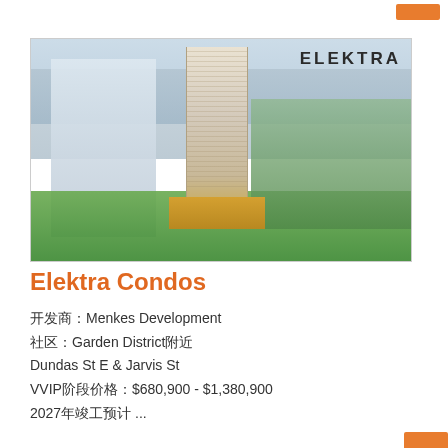[Figure (photo): Architectural rendering of Elektra Condos, a tall residential tower in Toronto's Garden District, surrounded by city trees and skyline. The word ELEKTRA appears in the top right corner of the image.]
Elektra Condos
开发商：Menkes Development
社区：Garden District附近
Dundas St E & Jarvis St
VVIP阶段价格：$680,900 - $1,380,900
2027年竣工预计 ...